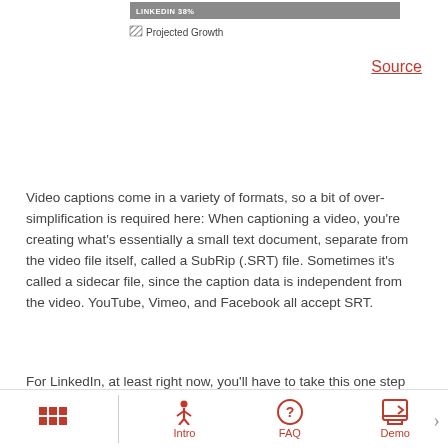[Figure (other): Partial horizontal bar chart showing LinkedIn at 38% with a grey bar, with a hatched 'Projected Growth' legend below]
Source
Video captions come in a variety of formats, so a bit of over-simplification is required here: When captioning a video, you're creating what's essentially a small text document, separate from the video file itself, called a SubRip (.SRT) file. Sometimes it's called a sidecar file, since the caption data is independent from the video. YouTube, Vimeo, and Facebook all accept SRT.
For LinkedIn, at least right now, you'll have to take this one step further by importing the SRT back into your video editing software for an open caption-type of solution. This is also called the burn-in option, meaning the captions are actually part of the video itself.
Intro   FAQ   Demo